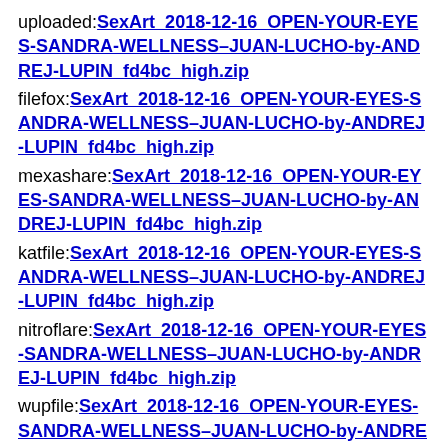uploaded:SexArt_2018-12-16_OPEN-YOUR-EYES-SANDRA-WELLNESS–JUAN-LUCHO-by-ANDREJ-LUPIN_fd4bc_high.zip
filefox:SexArt_2018-12-16_OPEN-YOUR-EYES-SANDRA-WELLNESS–JUAN-LUCHO-by-ANDREJ-LUPIN_fd4bc_high.zip
mexashare:SexArt_2018-12-16_OPEN-YOUR-EYES-SANDRA-WELLNESS–JUAN-LUCHO-by-ANDREJ-LUPIN_fd4bc_high.zip
katfile:SexArt_2018-12-16_OPEN-YOUR-EYES-SANDRA-WELLNESS–JUAN-LUCHO-by-ANDREJ-LUPIN_fd4bc_high.zip
nitroflare:SexArt_2018-12-16_OPEN-YOUR-EYES-SANDRA-WELLNESS–JUAN-LUCHO-by-ANDREJ-LUPIN_fd4bc_high.zip
wupfile:SexArt_2018-12-16_OPEN-YOUR-EYES-SANDRA-WELLNESS–JUAN-LUCHO-by-ANDREJ-LUPIN_fd4bc_high.zip